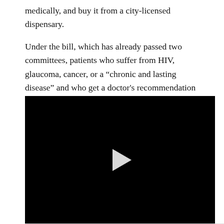medically, and buy it from a city-licensed dispensary.

Under the bill, which has already passed two committees, patients who suffer from HIV, glaucoma, cancer, or a “chronic and lasting disease” and who get a doctor's recommendation will be allowed to possess up to two ounces of marijuana, defined as a “30-day supply,” reports Tim Craig at The Washington Post.
[Figure (other): Embedded video player with black background and white play button triangle in center]